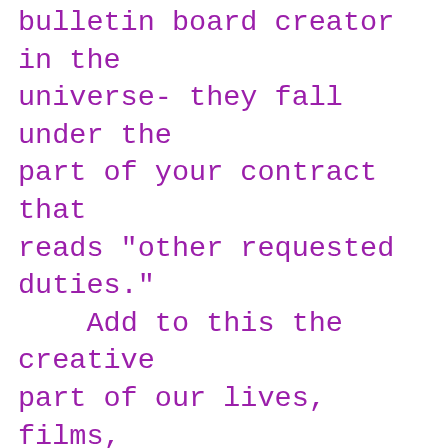bulletin board creator in the universe- they fall under the part of your contract that reads "other requested duties."
    Add to this the creative part of our lives, films, plays, and nights coming home at three in the morning, waking up at six getting everyone to their own school on time, Chris off to the airport and getting to the parent conference by eight. And still being able to look